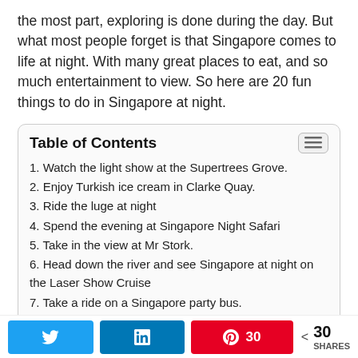the most part, exploring is done during the day. But what most people forget is that Singapore comes to life at night. With many great places to eat, and so much entertainment to view. So here are 20 fun things to do in Singapore at night.
Table of Contents
1. Watch the light show at the Supertrees Grove.
2. Enjoy Turkish ice cream in Clarke Quay.
3. Ride the luge at night
4. Spend the evening at Singapore Night Safari
5. Take in the view at Mr Stork.
6. Head down the river and see Singapore at night on the Laser Show Cruise
7. Take a ride on a Singapore party bus.
8. Try your luck at one of the Casino's
9. Order a cocktail at Bar Stories
30 SHARES